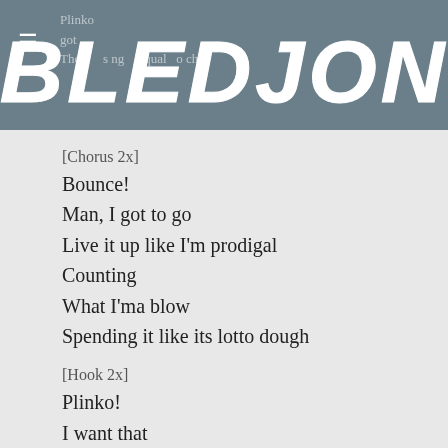BLEDJON
[Chorus 2x]
Bounce!
Man, I got to go
Live it up like I'm prodigal
Counting
What I'ma blow
Spending it like its lotto dough
[Hook 2x]
Plinko!
I want that
Plinko!
I need that
Plinko!
I got